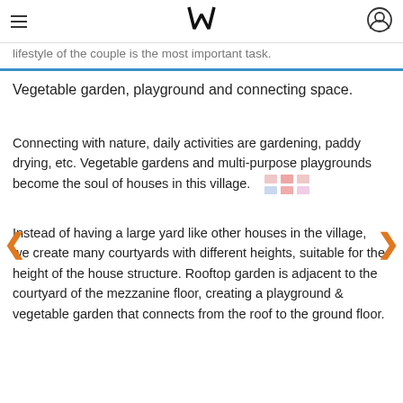W
lifestyle of the couple is the most important task.
Vegetable garden, playground and connecting space.
Connecting with nature, daily activities are gardening, paddy drying, etc. Vegetable gardens and multi-purpose playgrounds become the soul of houses in this village.
Instead of having a large yard like other houses in the village, we create many courtyards with different heights, suitable for the height of the house structure. Rooftop garden is adjacent to the courtyard of the mezzanine floor, creating a playground & vegetable garden that connects from the roof to the ground floor.